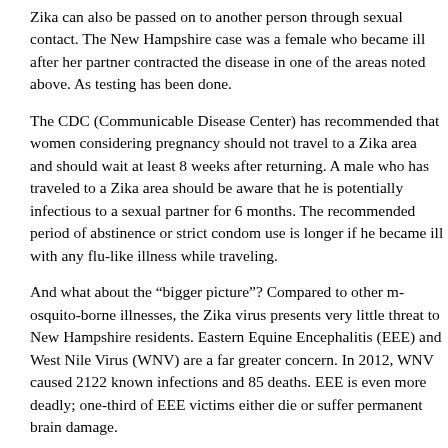Zika can also be passed on to another person through sexu... New Hampshire case was a female who became ill after h... contracted the disease in one of the areas noted above. As done.
The CDC (Communicable Disease Center) has recommen... considering pregnancy should not travel to a Zika area and at least 8 weeks after returning. A male who has traveled t... be aware that he is potentially infectious to a sexual partne... The recommended period of abstinence or strict condom u... became ill with any flu-like illness while traveling.
And what about the "bigger picture"? Compared to other m... virus presents very little threat to New Hampshire residen... Encephalitis (EEE) and West Nile Virus (WNV) are a far g... WNV caused 2122 known infections and 85 deaths. EEE i... of EEE victims either die or suffer permanent brain damag...
As always, prevention is key. The CDC has issued a numb... long sleeves and pants, permethrin treated clothing, insect... wet areas at dusk & after dark and mosquito control meas... individual information/advice you may consult your prima... Hitchcock Travel Clinic or your town Health Officer (me)...
Thanks for reading, Alex Medlicott